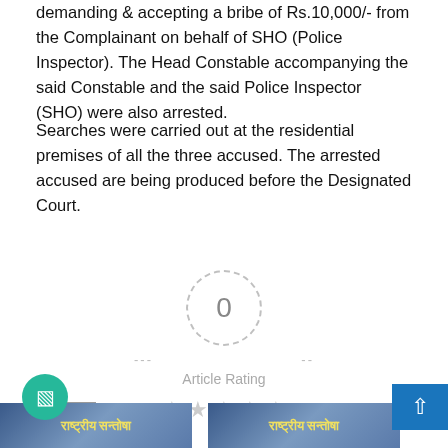demanding & accepting a bribe of Rs.10,000/- from the Complainant on behalf of SHO (Police Inspector). The Head Constable accompanying the said Constable and the said Police Inspector (SHO) were also arrested.
Searches were carried out at the residential premises of all the three accused. The arrested accused are being produced before the Designated Court.
[Figure (infographic): Article rating widget showing a dashed circle with '0' in the center, dashes on either side, 'Article Rating' label below, and five empty grey stars beneath]
[Figure (photo): Two thumbnail images side by side at the bottom of the page, both showing a news broadcast graphic with Hindi text]